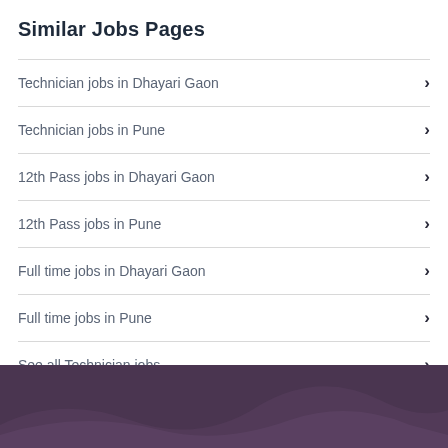Similar Jobs Pages
Technician jobs in Dhayari Gaon
Technician jobs in Pune
12th Pass jobs in Dhayari Gaon
12th Pass jobs in Pune
Full time jobs in Dhayari Gaon
Full time jobs in Pune
See all Technician jobs
All Jobs in Pune